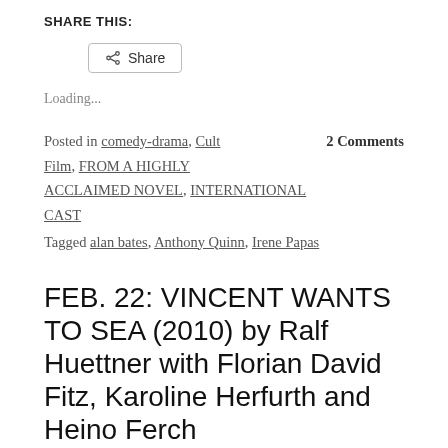SHARE THIS:
Share (button)
Loading...
Posted in comedy-drama, Cult Film, FROM A HIGHLY ACCLAIMED NOVEL, INTERNATIONAL CAST     2 Comments
Tagged alan bates, Anthony Quinn, Irene Papas
FEB. 22: VINCENT WANTS TO SEA (2010) by Ralf Huettner withFlorian David Fitz, Karoline Herfurth and Heino Ferch
Posted on February 18, 2016 | Leave a comment
[Figure (photo): Partial image strip visible at bottom of page]